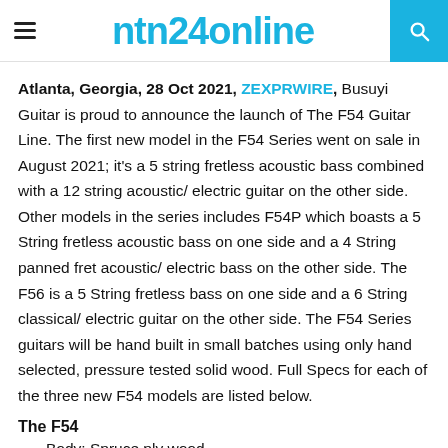ntn24online
Atlanta, Georgia, 28 Oct 2021, ZEXPRWIRE, Busuyi Guitar is proud to announce the launch of The F54 Guitar Line. The first new model in the F54 Series went on sale in August 2021; it's a 5 string fretless acoustic bass combined with a 12 string acoustic/ electric guitar on the other side. Other models in the series includes F54P which boasts a 5 String fretless acoustic bass on one side and a 4 String panned fret acoustic/ electric bass on the other side. The F56 is a 5 String fretless bass on one side and a 6 String classical/ electric guitar on the other side. The F54 Series guitars will be hand built in small batches using only hand selected, pressure tested solid wood. Full Specs for each of the three new F54 models are listed below.
The F54
Body: Spruce ply wood